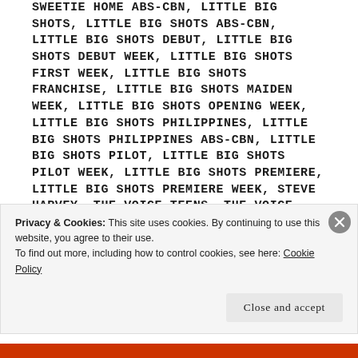SWEETIE HOME ABS-CBN, LITTLE BIG SHOTS, LITTLE BIG SHOTS ABS-CBN, LITTLE BIG SHOTS DEBUT, LITTLE BIG SHOTS DEBUT WEEK, LITTLE BIG SHOTS FIRST WEEK, LITTLE BIG SHOTS FRANCHISE, LITTLE BIG SHOTS MAIDEN WEEK, LITTLE BIG SHOTS OPENING WEEK, LITTLE BIG SHOTS PHILIPPINES, LITTLE BIG SHOTS PHILIPPINES ABS-CBN, LITTLE BIG SHOTS PILOT, LITTLE BIG SHOTS PILOT WEEK, LITTLE BIG SHOTS PREMIERE, LITTLE BIG SHOTS PREMIERE WEEK, STEVE HARVEY, THE VOICE TEENS, THE VOICE TEENS ABS-CBN, THE VOICE TEENS PHILIPPINES, THE VOICE TEENS PHILIPPINES ABS-CBN, THE VOICE TEENS
Privacy & Cookies: This site uses cookies. By continuing to use this website, you agree to their use.
To find out more, including how to control cookies, see here: Cookie Policy
Close and accept